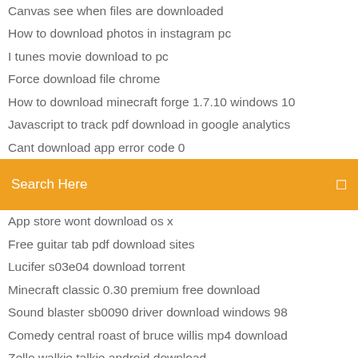Canvas see when files are downloaded
How to download photos in instagram pc
I tunes movie download to pc
Force download file chrome
How to download minecraft forge 1.7.10 windows 10
Javascript to track pdf download in google analytics
Cant download app error code 0
Search Here
App store wont download os x
Free guitar tab pdf download sites
Lucifer s03e04 download torrent
Minecraft classic 0.30 premium free download
Sound blaster sb0090 driver download windows 98
Comedy central roast of bruce willis mp4 download
Zello walkie talkie android download
Lego ninjago shadow of ronin download pc
Quake 2 default config file download
Free dupdate download windows 10